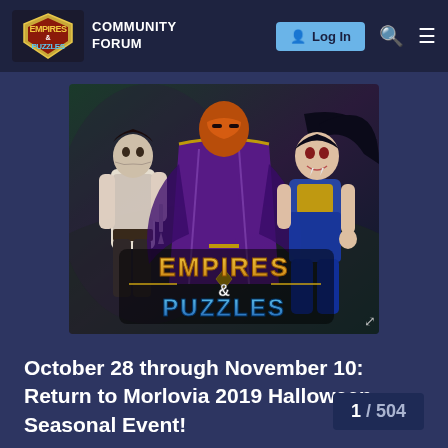Empires & Puzzles Community Forum | Log In
[Figure (illustration): Empires & Puzzles game artwork showing three fantasy characters (a male warrior, a masked figure in purple robes, and a female vampire character) with the Empires & Puzzles logo in the foreground]
October 28 through November 10: Return to Morlovia 2019 Halloween Seasonal Event!
1 / 504